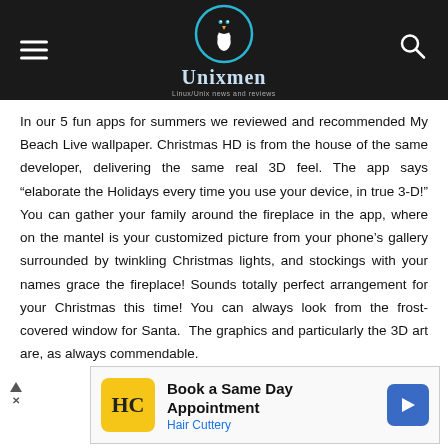Unixmen – Linux/Unix news and reviews
In our 5 fun apps for summers we reviewed and recommended My Beach Live wallpaper. Christmas HD is from the house of the same developer, delivering the same real 3D feel. The app says “elaborate the Holidays every time you use your device, in true 3-D!” You can gather your family around the fireplace in the app, where on the mantel is your customized picture from your phone’s gallery surrounded by twinkling Christmas lights, and stockings with your names grace the fireplace! Sounds totally perfect arrangement for your Christmas this time! You can always look from the frost-covered window for Santa. The graphics and particularly the 3D art are, as always commendable.
[Figure (other): Advertisement banner: Hair Cuttery – Book a Same Day Appointment]